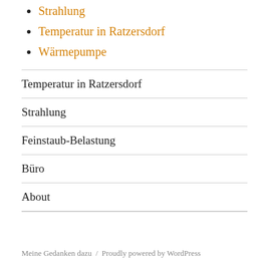Strahlung
Temperatur in Ratzersdorf
Wärmepumpe
Temperatur in Ratzersdorf
Strahlung
Feinstaub-Belastung
Büro
About
Meine Gedanken dazu  /  Proudly powered by WordPress